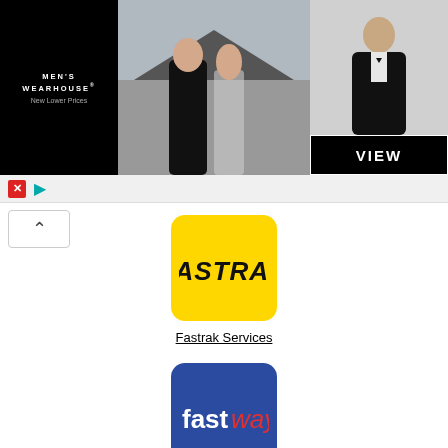[Figure (photo): Men's Wearhouse advertisement banner showing a couple in formal wear and a solo man in tuxedo with VIEW button]
[Figure (logo): Fastrak Services app icon — yellow rounded square with FASTRAK text in italic bold black]
Fastrak Services
[Figure (logo): Fastway New Zealand app icon — blue rounded square with 'fastway' text, 'fast' in white bold, 'way' in red italic]
Fastway New Zealand
[Figure (logo): Red rounded square app icon with striped V chevron logo in white/grey]